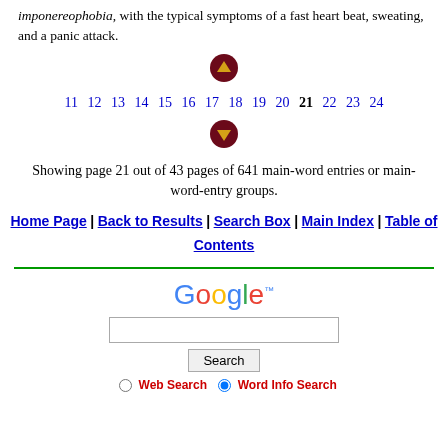imponereophobia, with the typical symptoms of a fast heart beat, sweating, and a panic attack.
[Figure (other): Navigation arrow buttons (up and down) rendered as dark red circular icons with gold arrow symbols]
11  12  13  14  15  16  17  18  19  20  21  22  23  24
Showing page 21 out of 43 pages of 641 main-word entries or main-word-entry groups.
Home Page | Back to Results | Search Box | Main Index | Table of Contents
[Figure (logo): Google logo with trademark symbol]
Search box with Web Search and Word Info Search radio buttons